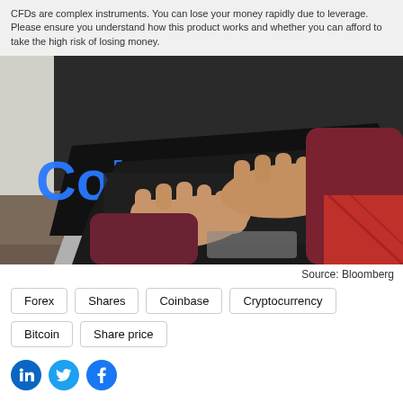CFDs are complex instruments. You can lose your money rapidly due to leverage. Please ensure you understand how this product works and whether you can afford to take the high risk of losing money.
[Figure (photo): Person typing on a laptop computer with 'coinbase' logo visible on the screen, wearing a dark red/maroon long-sleeve top and sitting on a red patterned surface.]
Source: Bloomberg
Forex
Shares
Coinbase
Cryptocurrency
Bitcoin
Share price
[Figure (logo): LinkedIn, Twitter, and Facebook social media icons (circular, teal/blue colored)]